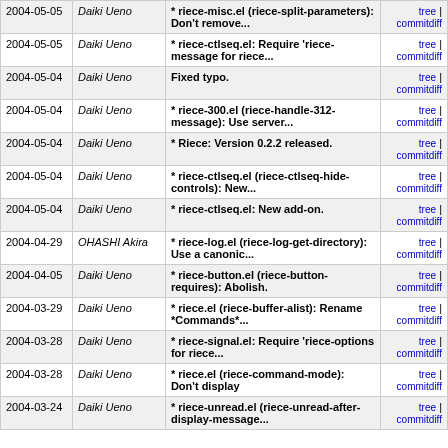| Date | Author | Message | Links |
| --- | --- | --- | --- |
| 2004-05-05 | Daiki Ueno | * riece-misc.el (riece-split-parameters): Don't remove... | tree | commitdiff |
| 2004-05-05 | Daiki Ueno | * riece-ctlseq.el: Require 'riece-message for riece... | tree | commitdiff |
| 2004-05-04 | Daiki Ueno | Fixed typo. | tree | commitdiff |
| 2004-05-04 | Daiki Ueno | * riece-300.el (riece-handle-312-message): Use server... | tree | commitdiff |
| 2004-05-04 | Daiki Ueno | * Riece: Version 0.2.2 released. | tree | commitdiff |
| 2004-05-04 | Daiki Ueno | * riece-ctlseq.el (riece-ctlseq-hide-controls): New... | tree | commitdiff |
| 2004-05-04 | Daiki Ueno | * riece-ctlseq.el: New add-on. | tree | commitdiff |
| 2004-04-29 | OHASHI Akira | * riece-log.el (riece-log-get-directory): Use a canonic... | tree | commitdiff |
| 2004-04-05 | Daiki Ueno | * riece-button.el (riece-button-requires): Abolish. | tree | commitdiff |
| 2004-03-29 | Daiki Ueno | * riece.el (riece-buffer-alist): Rename *Commands*... | tree | commitdiff |
| 2004-03-28 | Daiki Ueno | * riece-signal.el: Require 'riece-options for riece... | tree | commitdiff |
| 2004-03-28 | Daiki Ueno | * riece.el (riece-command-mode): Don't display | tree | commitdiff |
| 2004-03-24 | Daiki Ueno | * riece-unread.el (riece-unread-after-display-message... | tree | commitdiff |